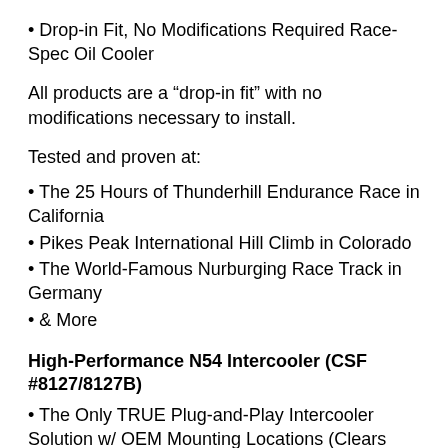• Drop-in Fit, No Modifications Required Race-Spec Oil Cooler
All products are a “drop-in fit” with no modifications necessary to install.
Tested and proven at:
• The 25 Hours of Thunderhill Endurance Race in California
• Pikes Peak International Hill Climb in Colorado
• The World-Famous Nurburging Race Track in Germany
• & More
High-Performance N54 Intercooler (CSF #8127/8127B)
• The Only TRUE Plug-and-Play Intercooler Solution w/ OEM Mounting Locations (Clears OEM Crash Bar)